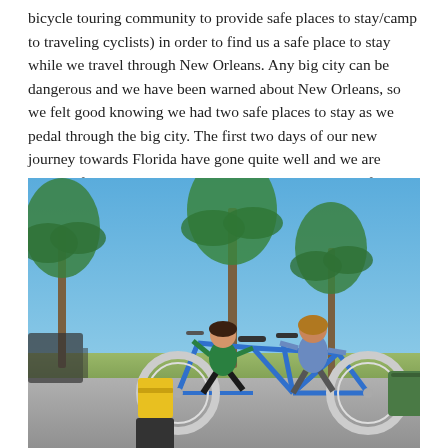bicycle touring community to provide safe places to stay/camp to traveling cyclists) in order to find us a safe place to stay while we travel through New Orleans. Any big city can be dangerous and we have been warned about New Orleans, so we felt good knowing we had two safe places to stay as we pedal through the big city. The first two days of our new journey towards Florida have gone quite well and we are looking forward to what else the Universe has in store for us 🙂 Onward!
[Figure (photo): Two cyclists posing on a blue tandem bicycle loaded with panniers and gear bags, in a sunny outdoor parking area with palm trees and blue sky in the background. The woman on the left wears a green jacket and the man on the right wears a blue long-sleeve shirt.]